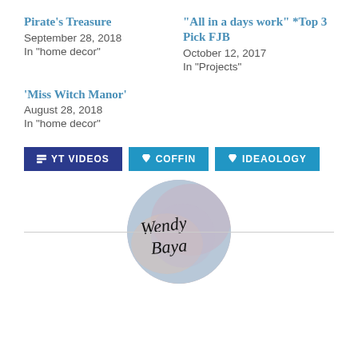Pirate's Treasure
September 28, 2018
In "home decor"
“All in a days work” *Top 3 Pick FJB
October 12, 2017
In "Projects"
‘Miss Witch Manor’
August 28, 2018
In "home decor"
YT VIDEOS
COFFIN
IDEAOLOGY
[Figure (logo): Circular avatar/logo image with a watercolor-style background in blue, pink and grey tones, with cursive handwritten text reading 'Wendy Baya' or similar script signature]